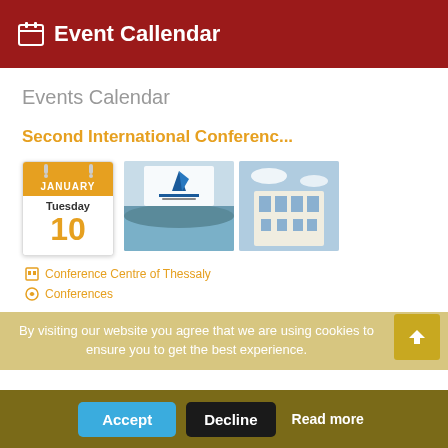Event Callendar
Events Calendar
Second International Conferenc...
[Figure (other): Calendar widget showing Tuesday January 10, and two event thumbnail images: a conference logo over a landscape photo, and a white building]
Conference Centre of Thessaly
Conferences
By visiting our website you agree that we are using cookies to ensure you to get the best experience.
Accept   Decline   Read more